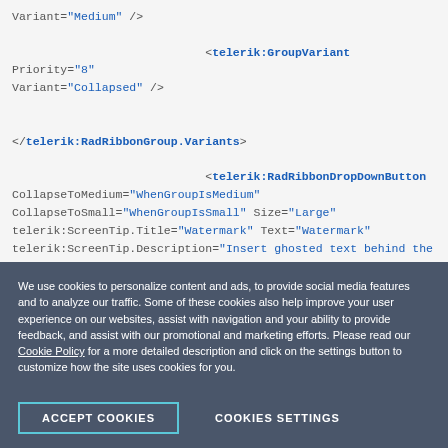Variant="Medium" />
<telerik:GroupVariant Priority="8"
Variant="Collapsed" />
</telerik:RadRibbonGroup.Variants>
<telerik:RadRibbonDropDownButton
CollapseToMedium="WhenGroupIsMedium"
CollapseToSmall="WhenGroupIsSmall" Size="Large"
telerik:ScreenTip.Title="Watermark" Text="Watermark"
telerik:ScreenTip.Description="Insert ghosted text behind the content on
the page"
We use cookies to personalize content and ads, to provide social media features and to analyze our traffic. Some of these cookies also help improve your user experience on our websites, assist with navigation and your ability to provide feedback, and assist with our promotional and marketing efforts. Please read our Cookie Policy for a more detailed description and click on the settings button to customize how the site uses cookies for you.
ACCEPT COOKIES
COOKIES SETTINGS